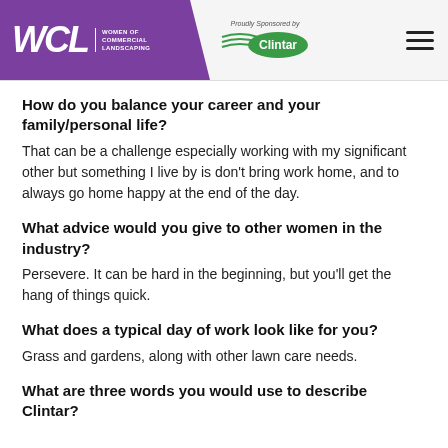WCL Women of Commercial Landscaping | Proudly Sponsored by Clintar
How do you balance your career and your family/personal life?
That can be a challenge especially working with my significant other but something I live by is don't bring work home, and to always go home happy at the end of the day.
What advice would you give to other women in the industry?
Persevere. It can be hard in the beginning, but you'll get the hang of things quick.
What does a typical day of work look like for you?
Grass and gardens, along with other lawn care needs.
What are three words you would use to describe Clintar?